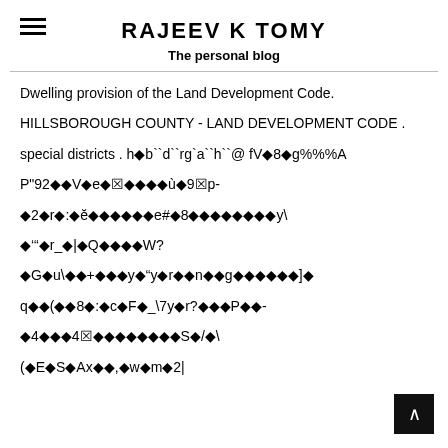RAJEEV K TOMY
The personal blog
Dwelling provision of the Land Development Code.
HILLSBOROUGH COUNTY - LAND DEVELOPMENT CODE .
special districts . h◆b``d``rg`a``h``@ fV◆8◆g%%%A P"92◆◆V◆e◆☒◆◆◆◆ù◆9☒p- ◆2◆r◆:◆ĕ◆◆◆◆◆◆e#◆8◆◆◆◆◆◆◆◆y\ ◆'“◆r_◆|◆Q◆◆◆◆W? ◆G◆u\◆◆+◆◆◆y◆“y◆r◆◆n◆◆g◆◆◆◆◆◆]◆ q◆◆(◆◆8◆:◆c◆F◆_\7y◆r?◆◆◆P◆◆- ◆4◆◆◆4☒◆◆◆◆◆◆◆◆S◆/◆\ (◆E◆S◆Ax◆◆,◆w◆m◆2|